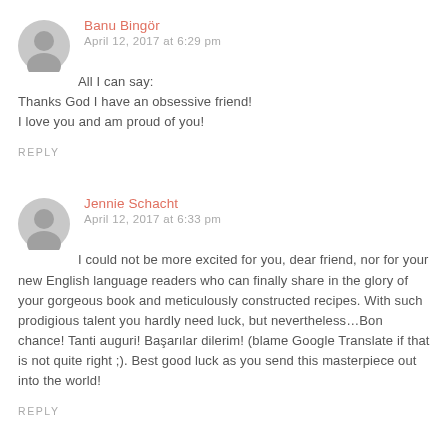Banu Bingör
April 12, 2017 at 6:29 pm
All I can say:
Thanks God I have an obsessive friend!
I love you and am proud of you!
REPLY
Jennie Schacht
April 12, 2017 at 6:33 pm
I could not be more excited for you, dear friend, nor for your new English language readers who can finally share in the glory of your gorgeous book and meticulously constructed recipes. With such prodigious talent you hardly need luck, but nevertheless…Bon chance! Tanti auguri! Başarılar dilerim! (blame Google Translate if that is not quite right ;). Best good luck as you send this masterpiece out into the world!
REPLY